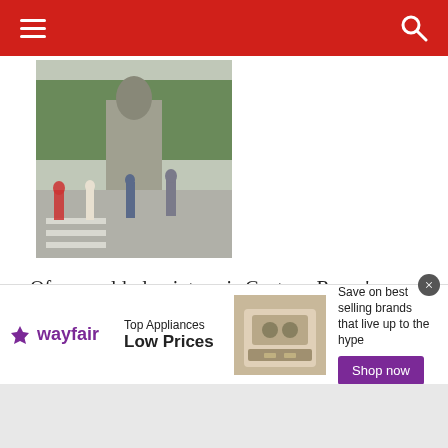Navigation bar with hamburger menu and search icon
[Figure (photo): Outdoor photo of Columbus Circle monument with pedestrians crossing a street, trees and city buildings in background]
Of more elderly vintage is Gaetano Russo's Columbus Circle monument, dedicated in 1892, 400 years after Christopher Columbus' three ships arrived in the New World.
[Figure (photo): Urban street scene showing building facades with a colorful red and black mural or artwork visible]
[Figure (other): Wayfair advertisement banner: Top Appliances Low Prices, Save on best selling brands that live up to the hype, Shop now button]